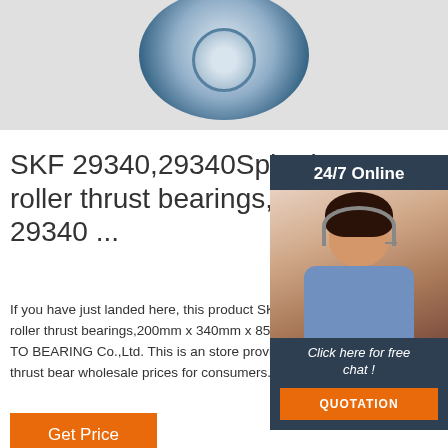[Figure (photo): SKF 29340 spherical roller thrust bearing product photo against light gray background]
SKF 29340,29340Spheri roller thrust bearings,SK 29340 ...
If you have just landed here, this product SKF29340 Spherical roller thrust bearings,200mm x 340mm x 85mm is offe online by TO BEARING Co.,Ltd. This is an store providing Spherical roller thrust bear wholesale prices for consumers.
[Figure (photo): 24/7 Online customer service representative — woman with headset smiling, with Click here for free chat! text and QUOTATION button]
Get Price